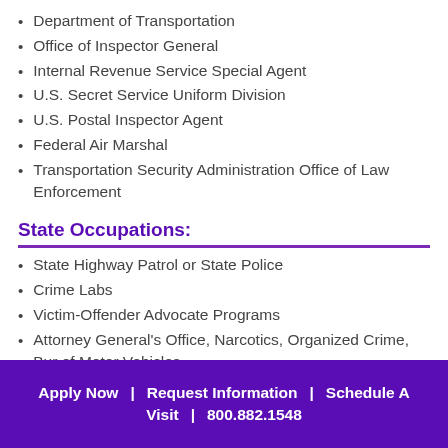Department of Transportation
Office of Inspector General
Internal Revenue Service Special Agent
U.S. Secret Service Uniform Division
U.S. Postal Inspector Agent
Federal Air Marshal
Transportation Security Administration Office of Law Enforcement
State Occupations:
State Highway Patrol or State Police
Crime Labs
Victim-Offender Advocate Programs
Attorney General's Office, Narcotics, Organized Crime, Bur of Motor Vehicles
Department of Natural Resources Wildlife
Apply Now  |  Request Information  |  Schedule A Visit  |  800.882.1548